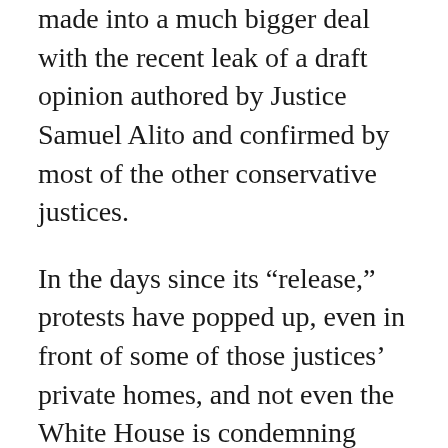made into a much bigger deal with the recent leak of a draft opinion authored by Justice Samuel Alito and confirmed by most of the other conservative justices.
In the days since its “release,” protests have popped up, even in front of some of those justices’ private homes, and not even the White House is condemning such acts. In addition, there is no small amount of chatter about the possible upcoming decision and the part the justices are playing in it on social media. Naturally, a lot of that from the political left is nothing but lies…